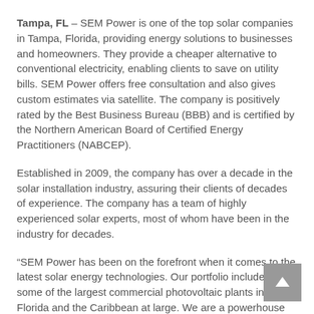Tampa, FL – SEM Power is one of the top solar companies in Tampa, Florida, providing energy solutions to businesses and homeowners. They provide a cheaper alternative to conventional electricity, enabling clients to save on utility bills. SEM Power offers free consultation and also gives custom estimates via satellite. The company is positively rated by the Best Business Bureau (BBB) and is certified by the Northern American Board of Certified Energy Practitioners (NABCEP).
Established in 2009, the company has over a decade in the solar installation industry, assuring their clients of decades of experience. The company has a team of highly experienced solar experts, most of whom have been in the industry for decades.
“SEM Power has been on the forefront when it comes to the latest solar energy technologies. Our portfolio includes some of the largest commercial photovoltaic plants in Florida and the Caribbean at large. We are a powerhouse when it comes to grid, off-grid and energy storage solutions,” said the company’s Brett Emes about their products and services.